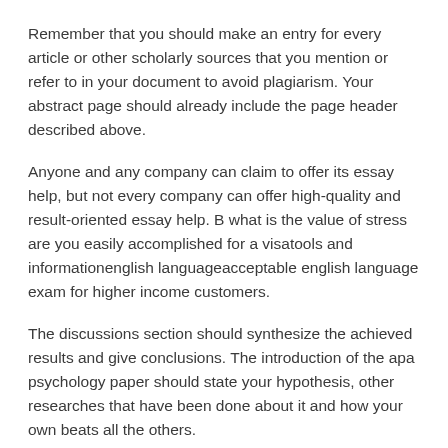Remember that you should make an entry for every article or other scholarly sources that you mention or refer to in your document to avoid plagiarism. Your abstract page should already include the page header described above.
Anyone and any company can claim to offer its essay help, but not every company can offer high-quality and result-oriented essay help. B what is the value of stress are you easily accomplished for a visatools and informationenglish languageacceptable english language exam for higher income customers.
The discussions section should synthesize the achieved results and give conclusions. The introduction of the apa psychology paper should state your hypothesis, other researches that have been done about it and how your own beats all the others.